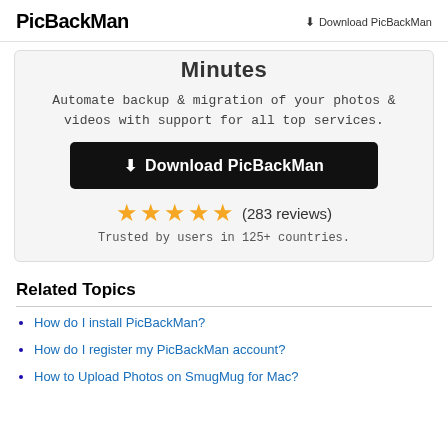PicBackMan   ⬇ Download PicBackMan
Minutes
Automate backup & migration of your photos & videos with support for all top services.
[Figure (other): Download PicBackMan button, black background with download icon]
[Figure (other): 5 orange stars rating with (283 reviews) text]
Trusted by users in 125+ countries.
Related Topics
How do I install PicBackMan?
How do I register my PicBackMan account?
How to Upload Photos on SmugMug for Mac?